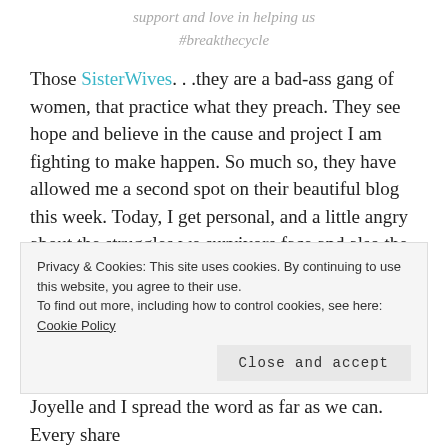support and love in helping us #breakthecycle
Those SisterWives. . .they are a bad-ass gang of women, that practice what they preach. They see hope and believe in the cause and project I am fighting to make happen. So much so, they have allowed me a second spot on their beautiful blog this week. Today, I get personal, and a little angry about the struggles we survivors face and also the obstacles in bringing other survivors out of the dark.
Privacy & Cookies: This site uses cookies. By continuing to use this website, you agree to their use. To find out more, including how to control cookies, see here: Cookie Policy
Joyelle and I spread the word as far as we can. Every share